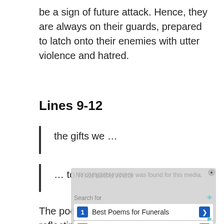be a sign of future attack. Hence, they are always on their guards, prepared to latch onto their enemies with utter violence and hatred.
Lines 9-12
the gifts we …
… to manoeuvres
The poet ends the first section by reflecting upon the idea of kindness in a world like ours – how the
[Figure (screenshot): Ad overlay showing search results for 'Best Poems for Funerals' and 'Ways To Get Rid Of Squirrels', with a 'No compatible source was found for this media.' message in the background.]